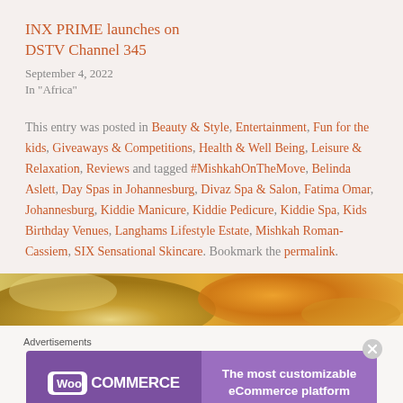INX PRIME launches on DSTV Channel 345
September 4, 2022
In "Africa"
This entry was posted in Beauty & Style, Entertainment, Fun for the kids, Giveaways & Competitions, Health & Well Being, Leisure & Relaxation, Reviews and tagged #MishkahOnTheMove, Belinda Aslett, Day Spas in Johannesburg, Divaz Spa & Salon, Fatima Omar, Johannesburg, Kiddie Manicure, Kiddie Pedicure, Kiddie Spa, Kids Birthday Venues, Langhams Lifestyle Estate, Mishkah Roman-Cassiem, SIX Sensational Skincare. Bookmark the permalink.
[Figure (photo): Close-up photo of spa/wellness items with warm golden/orange tones]
Advertisements
[Figure (logo): WooCommerce advertisement banner: WooCommerce logo on purple background with text 'The most customizable eCommerce platform']